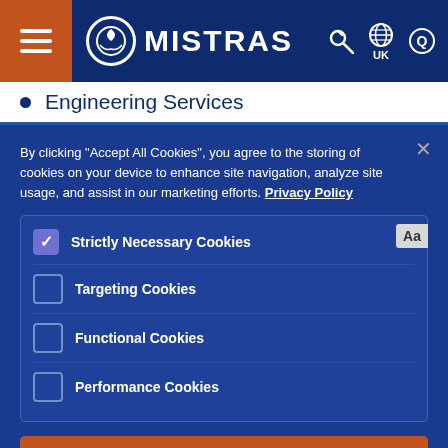[Figure (screenshot): MISTRAS company navigation bar with hamburger menu, logo, globe/UK selector, wrench icon, and search icon]
Engineering Services
By clicking "Accept All Cookies", you agree to the storing of cookies on your device to enhance site navigation, analyze site usage, and assist in our marketing efforts. Privacy Policy
Strictly Necessary Cookies
Targeting Cookies
Functional Cookies
Performance Cookies
Reject All